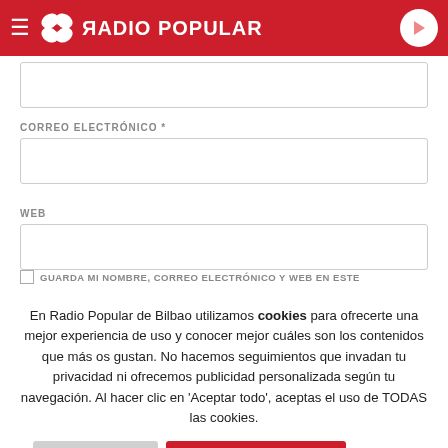RADIO POPULAR
CORREO ELECTRÓNICO *
WEB
GUARDA MI NOMBRE, CORREO ELECTRÓNICO Y WEB EN ESTE
En Radio Popular de Bilbao utilizamos cookies para ofrecerte una mejor experiencia de uso y conocer mejor cuáles son los contenidos que más os gustan. No hacemos seguimientos que invadan tu privacidad ni ofrecemos publicidad personalizada según tu navegación. Al hacer clic en 'Aceptar todo', aceptas el uso de TODAS las cookies.
Rechazar y salir
Aceptar todas y continuar
Leer más